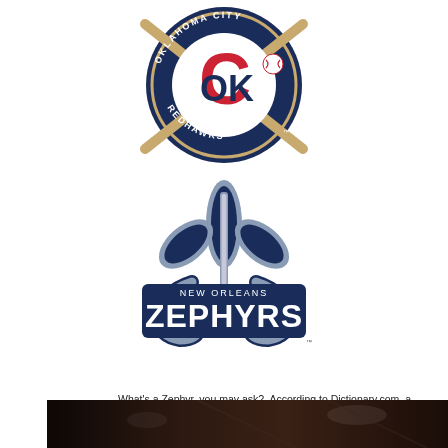[Figure (logo): Oklahoma City Redhawks baseball team logo: circular navy blue badge with crossed bats, red C letter overlapping OK letters, text 'OKLAHOMA CITY' at top and 'REDHAWKS' at bottom, TM mark]
[Figure (logo): New Orleans Zephyrs baseball team logo: navy blue and silver fleur-de-lis design with a baseball bat as the center stalk, text 'NEW ORLEANS' above 'ZEPHYRS' in large bold letters, TM mark]
What’s a Zephyr, you may ask?  According to Dictionary.com, a “zephyr” is a gentle, mild breeze.  I found that extremely hilarious for some reason!
[Figure (photo): Dark interior photo of what appears to be a stadium or arena, dimly lit with some lights visible]